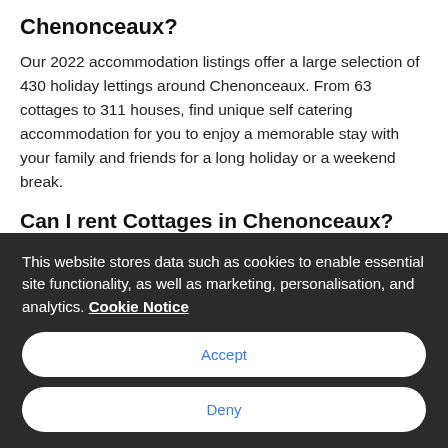Chenonceaux?
Our 2022 accommodation listings offer a large selection of 430 holiday lettings around Chenonceaux. From 63 cottages to 311 houses, find unique self catering accommodation for you to enjoy a memorable stay with your family and friends for a long holiday or a weekend break.
Can I rent Cottages in Chenonceaux?
Yes, from our Holiday UK offer 63 Cottages in...
This website stores data such as cookies to enable essential site functionality, as well as marketing, personalisation, and analytics. Cookie Notice
Accept
Deny